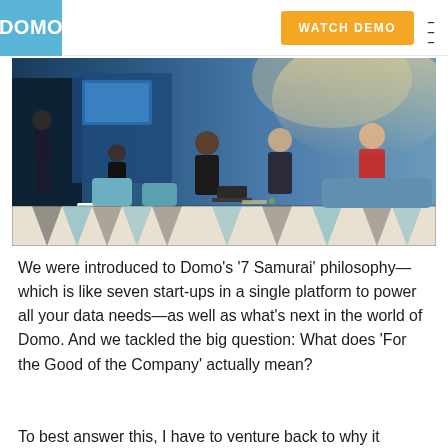DOMO | WATCH DEMO
[Figure (photo): Group of people in a modern conference lounge setting, several individuals seated on chairs and sofas around a white coffee table, with a geometric patterned floor in black, white, and teal. Some attendees appear to be in discussion or looking at a laptop.]
We were introduced to Domo’s ‘7 Samurai’ philosophy—which is like seven start-ups in a single platform to power all your data needs—as well as what’s next in the world of Domo. And we tackled the big question: What does ‘For the Good of the Company’ actually mean?
To best answer this, I have to venture back to why it